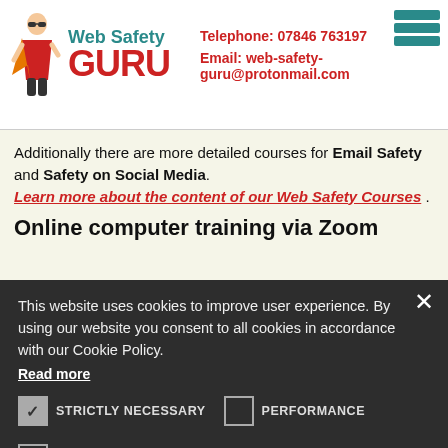[Figure (logo): Web Safety Guru logo with superhero figure]
Telephone: 07846 763197
Email: web-safety-guru@protonmail.com
Additionally there are more detailed courses for Email Safety and Safety on Social Media. Learn more about the content of our Web Safety Courses .
Online computer training via Zoom
This website uses cookies to improve user experience. By using our website you consent to all cookies in accordance with our Cookie Policy. Read more
STRICTLY NECESSARY  PERFORMANCE  TARGETING  UNCLASSIFIED  SHOW DETAILS
ACCEPT ALL   DECLINE ALL
POWERED BY COOKIE-SCRIPT